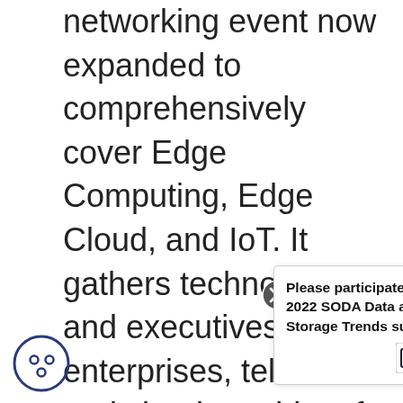networking event now expanded to comprehensively cover Edge Computing, Edge Cloud, and IoT. It gathers technologists and executives from enterprises, telecoms and cloud providers for technical, architecture and business discussions that will shape the future of networking and edge computing. ONES enables collaborative development and innovation with a deep focus on both Open Networking and AI/ML-enabled use cases for 5G. IoT. Edge and Enterprise dep...ted discussions on...ks and blueprints across numerous industries
[Figure (other): Popup overlay with close button (X) and Linux Foundation logo, text: Please participate in our 2022 SODA Data and Storage Trends survey!]
[Figure (other): Cookie consent icon (circle with three dots) in bottom-left corner]